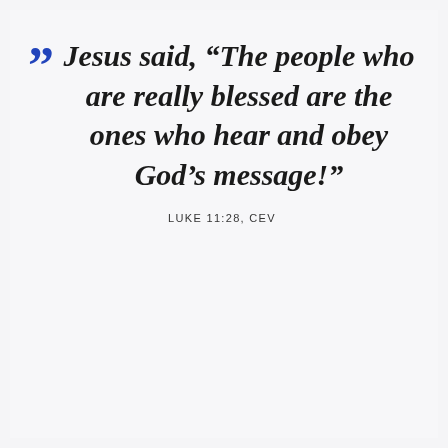Jesus said, “The people who are really blessed are the ones who hear and obey God’s message!”
LUKE 11:28, CEV